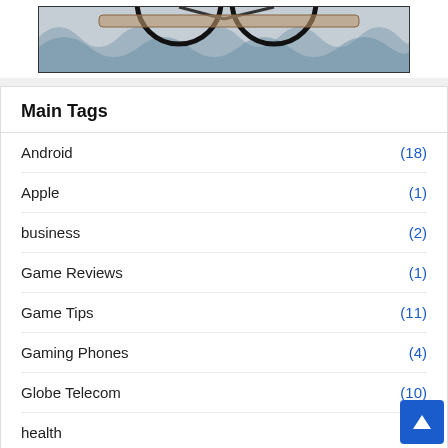[Figure (photo): Partial image of a bicycle on a patterned rug/carpet at top of page]
Main Tags
Android (18)
Apple (1)
business (2)
Game Reviews (1)
Game Tips (11)
Gaming Phones (4)
Globe Telecom (10)
health (3)
PhilHealth (1)